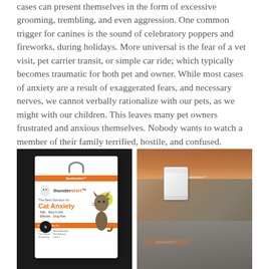cases can present themselves in the form of excessive grooming, trembling, and even aggression. One common trigger for canines is the sound of celebratory poppers and fireworks, during holidays. More universal is the fear of a vet visit, pet carrier transit, or simple car ride; which typically becomes traumatic for both pet and owner. While most cases of anxiety are a result of exaggerated fears, and necessary nerves, we cannot verbally rationalize with our pets, as we might with our children. This leaves many pet owners frustrated and anxious themselves. Nobody wants to watch a member of their family terrified, hostile, and confused.
[Figure (photo): Two photos side by side: Left photo shows a Thundershirt product box for Cat Anxiety on a dark background. The box shows 'thundershirt' branding, 'The Best Solution for Cat Anxiety', and lists features: Safe, Easy to Use, Effective, Drug Free. Right photo shows a Thundershirt product/garment in gray fabric with orange Thundershirt label tag visible.]